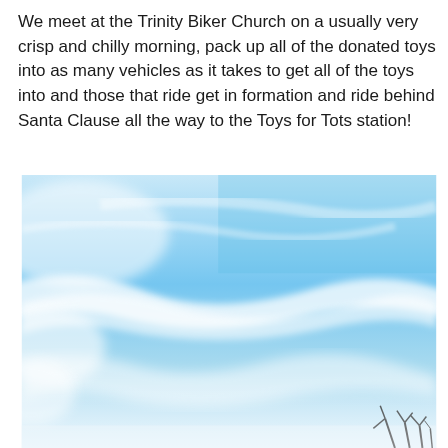We meet at the Trinity Biker Church on a usually very crisp and chilly morning, pack up all of the donated toys into as many vehicles as it takes to get all of the toys into and those that ride get in formation and ride behind Santa Clause all the way to the Toys for Tots station!
[Figure (photo): A photo of a blue sky with wispy white clouds, taken outdoors. The bottom edge shows dark silhouettes of bare tree branches.]